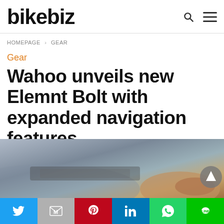bikebiz
HOMEPAGE > GEAR
Gear
Wahoo unveils new Elemnt Bolt with expanded navigation features
[Figure (photo): Close-up photo of hands holding a cycling GPS device, blurred background]
[Figure (infographic): Social sharing bar with Twitter, Gmail, Pinterest, LinkedIn, WhatsApp, and LINE buttons]